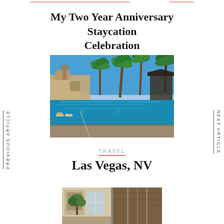My Two Year Anniversary Staycation Celebration
[Figure (photo): Outdoor resort swimming pool with palm trees and blue sky]
PREVIOUS ARTICLE
NEXT ARTICLE
TRAVEL
Las Vegas, NV
[Figure (photo): Partial photo at bottom of page showing hotel room or resort interior details]